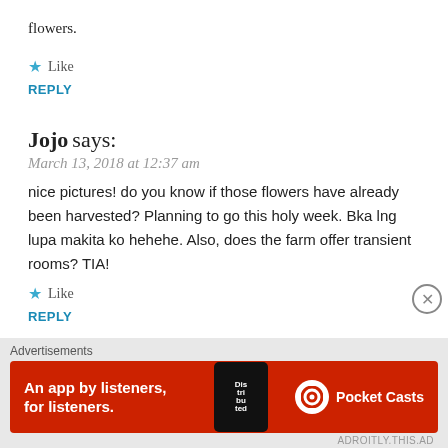flowers.
Like
REPLY
Jojo says:
March 13, 2018 at 12:37 am
nice pictures! do you know if those flowers have already been harvested? Planning to go this holy week. Bka lng lupa makita ko hehehe. Also, does the farm offer transient rooms? TIA!
Like
REPLY
Gurezu says:
[Figure (screenshot): Pocket Casts advertisement banner: red background with text 'An app by listeners, for listeners.' and Pocket Casts logo, alongside a smartphone image showing 'Distributed' text]